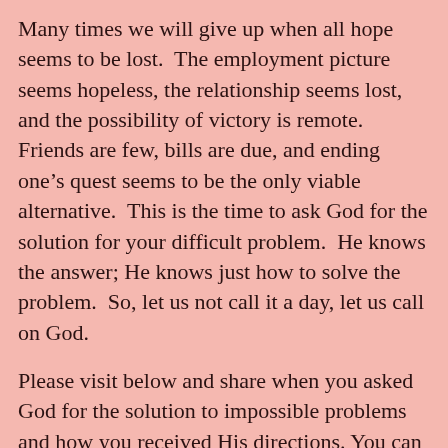Many times we will give up when all hope seems to be lost.  The employment picture seems hopeless, the relationship seems lost, and the possibility of victory is remote.  Friends are few, bills are due, and ending one’s quest seems to be the only viable alternative.  This is the time to ask God for the solution for your difficult problem.  He knows the answer; He knows just how to solve the problem.  So, let us not call it a day, let us call on God.
Please visit below and share when you asked God for the solution to impossible problems and how you received His directions. You can encourage others to do the same.